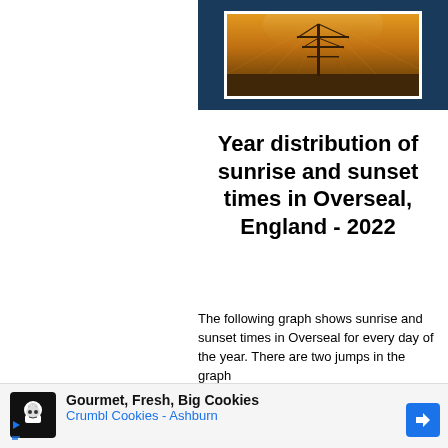[Figure (photo): A hazy sunset photo with electrical power pylons silhouetted against an orange-golden sky, framed in a dark navy blue border. White border frames the photo inside the blue block.]
Year distribution of sunrise and sunset times in Overseal, England - 2022
The following graph shows sunrise and sunset times in Overseal for every day of the year. There are two jumps in the graph
[Figure (other): Advertisement banner: Gourmet, Fresh, Big Cookies - Crumbl Cookies - Ashburn, with a chef logo icon and a blue navigation arrow button.]